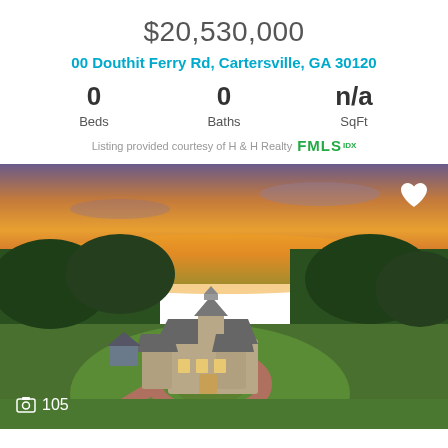$20,530,000
00 Douthit Ferry Rd, Cartersville, GA 30120
| Beds | Baths | SqFt |
| --- | --- | --- |
| 0 | 0 | n/a |
Listing provided courtesy of H & H Realty FMLS IDX
[Figure (photo): Aerial drone photo of a large stone mansion with circular driveway surrounded by trees, taken at sunset with orange and purple sky. Photo count badge shows 105 photos.]
$16,500,000
3084 George Williams Rd, Monroe, GA 30656